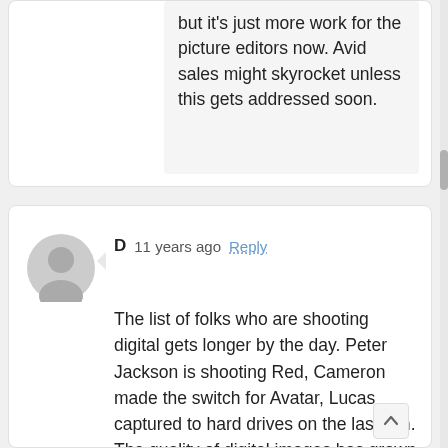but it's just more work for the picture editors now. Avid sales might skyrocket unless this gets addressed soon.
D  11 years ago  Reply

The list of folks who are shooting digital gets longer by the day. Peter Jackson is shooting Red, Cameron made the switch for Avatar, Lucas captured to hard drives on the last film. The quality of digital images has grown to the point where it is possible to compete directly with film. Digital delivery and projection are the future, as is digital acquisition. Focusing on dying formats instead of the way we'll be operating going into the next ten years would